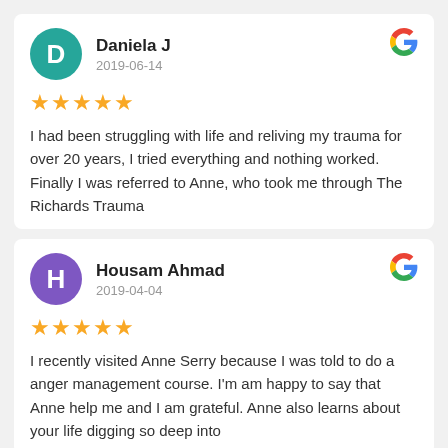Daniela J
2019-06-14
★★★★★
I had been struggling with life and reliving my trauma for over 20 years, I tried everything and nothing worked. Finally I was referred to Anne, who took me through The Richards Trauma
Housam Ahmad
2019-04-04
★★★★★
I recently visited Anne Serry because I was told to do a anger management course. I'm am happy to say that Anne help me and I am grateful. Anne also learns about your life digging so deep into
Anna Anasa